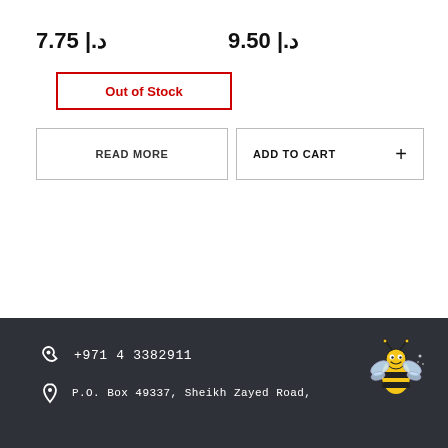7.75 د.إ
9.50 د.إ
Out of Stock
READ MORE
ADD TO CART +
+971 4 3382911
P.O. Box 49337, Sheikh Zayed Road,